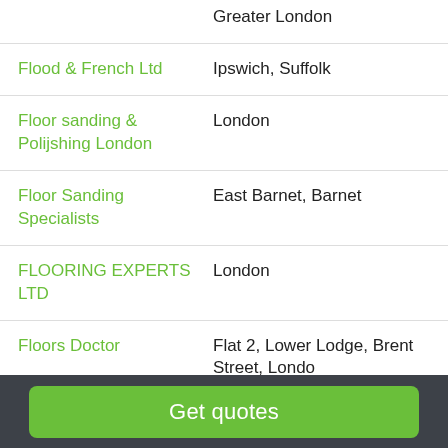Greater London
Flood & French Ltd | Ipswich, Suffolk
Floor sanding & Polijshing London | London
Floor Sanding Specialists | East Barnet, Barnet
FLOORING EXPERTS LTD | London
Floors Doctor | Flat 2, Lower Lodge, Brent Street, Londo
Get quotes